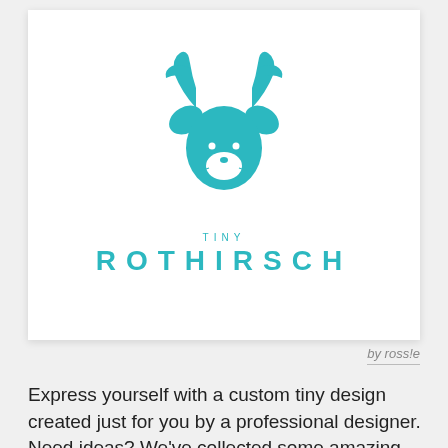[Figure (logo): Tiny Rothirsch deer/fox logo in teal color with antlers and leaf ears, with text TINY ROTHIRSCH below]
by ross!e
Express yourself with a custom tiny design created just for you by a professional designer. Need ideas? We've collected some amazing examples of tiny